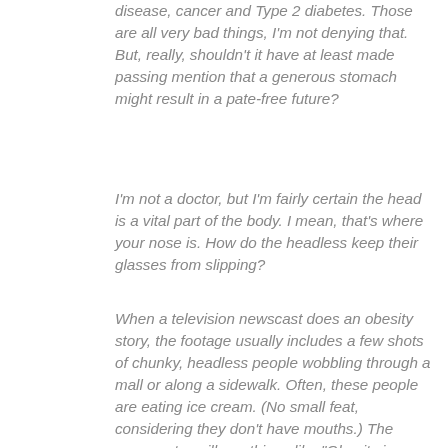disease, cancer and Type 2 diabetes. Those are all very bad things, I'm not denying that. But, really, shouldn't it have at least made passing mention that a generous stomach might result in a pate-free future?
I'm not a doctor, but I'm fairly certain the head is a vital part of the body. I mean, that's where your nose is. How do the headless keep their glasses from slipping?
When a television newscast does an obesity story, the footage usually includes a few shots of chunky, headless people wobbling through a mall or along a sidewalk. Often, these people are eating ice cream. (No small feat, considering they don't have mouths.) The newscaster will say things like "Obesity is one of the leading causes of preventable illness" or "Dairy Queen introduces new Kit Kat Blizzard." (One of those may have been a commercial.) But will the newscaster note that the mall-wobblers lack